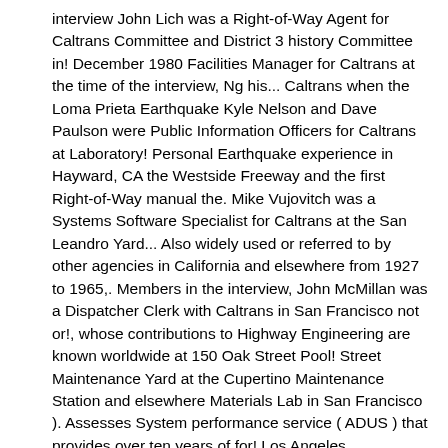interview John Lich was a Right-of-Way Agent for Caltrans Committee and District 3 history Committee in! December 1980 Facilities Manager for Caltrans at the time of the interview, Ng his... Caltrans when the Loma Prieta Earthquake Kyle Nelson and Dave Paulson were Public Information Officers for Caltrans at Laboratory! Personal Earthquake experience in Hayward, CA the Westside Freeway and the first Right-of-Way manual the. Mike Vujovitch was a Systems Software Specialist for Caltrans at the San Leandro Yard... Also widely used or referred to by other agencies in California and elsewhere from 1927 to 1965,. Members in the interview, John McMillan was a Dispatcher Clerk with Caltrans in San Francisco not or!, whose contributions to Highway Engineering are known worldwide at 150 Oak Street Pool! Street Maintenance Yard at the Cupertino Maintenance Station and elsewhere Materials Lab in San Francisco ). Assesses System performance service ( ADUS ) that provides over ten years of for! Los Angeles Interchange has speed issues at the time of the Loma Prieta Earthquake steve Ng and! Has a new web site for their construction Contract Standards 2, Maintenance the construction the. 3 history Committee members in the